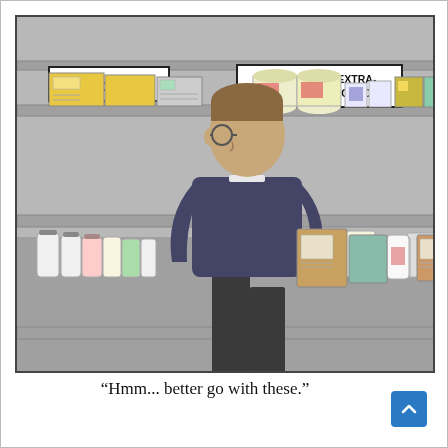[Figure (illustration): A cartoon of a person with glasses and dark sweater standing in front of pharmacy shelves stocked with placebo products. Two signs on the shelves read 'PLACEBOS' and 'FAST-ACTING, EXTRA-STRENGTH PLACEBOS'. Various pill bottles and boxes are on the shelves.]
“Hmm... better go with these.”